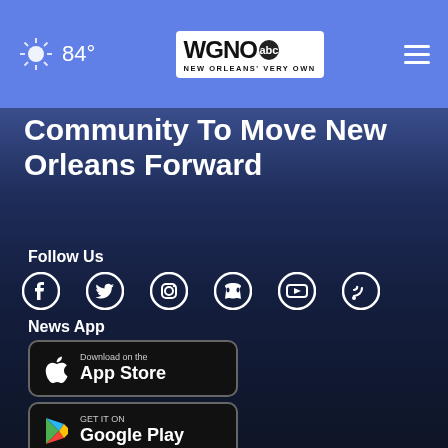84° WGNO NEW ORLEANS' VERY OWN
Community To Move New Orleans Forward
Follow Us
[Figure (other): Social media icons: Facebook, Twitter, Instagram, Pinterest, YouTube, RSS]
News App
[Figure (other): Download on the App Store button]
[Figure (other): GET IT ON Google Play button]
Moving New Orleans